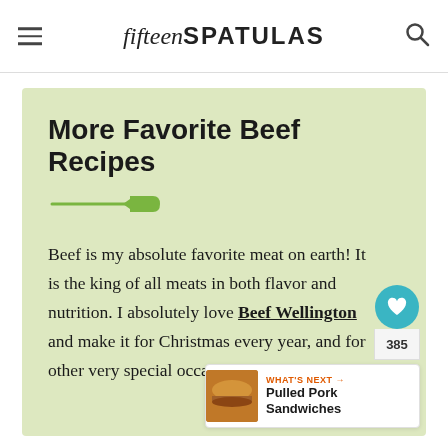fifteen SPATULAS
More Favorite Beef Recipes
[Figure (illustration): Green spatula icon used as decorative divider]
Beef is my absolute favorite meat on earth! It is the king of all meats in both flavor and nutrition. I absolutely love Beef Wellington and make it for Christmas every year, and for other very special occasions.